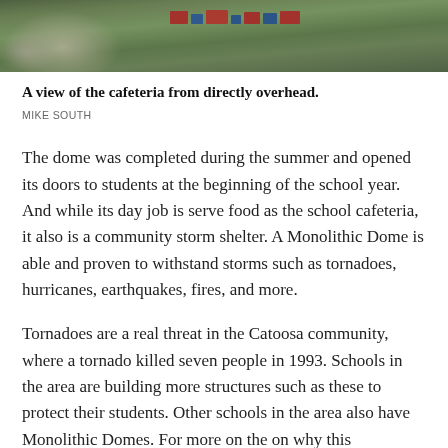[Figure (photo): Aerial overhead view of a cafeteria/dome building with surrounding grounds and roads]
A view of the cafeteria from directly overhead.
MIKE SOUTH
The dome was completed during the summer and opened its doors to students at the beginning of the school year. And while its day job is serve food as the school cafeteria, it also is a community storm shelter. A Monolithic Dome is able and proven to withstand storms such as tornadoes, hurricanes, earthquakes, fires, and more.
Tornadoes are a real threat in the Catoosa community, where a tornado killed seven people in 1993. Schools in the area are building more structures such as these to protect their students. Other schools in the area also have Monolithic Domes. For more on the on why this